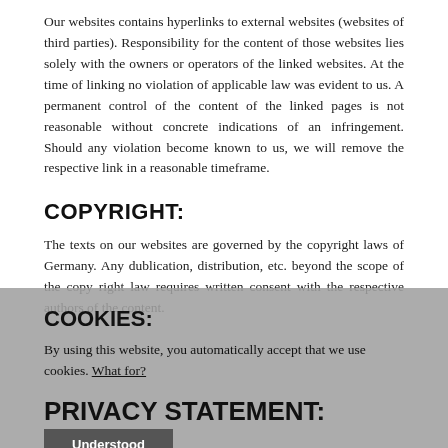Our websites contains hyperlinks to external websites (websites of third parties). Responsibility for the content of those websites lies solely with the owners or operators of the linked websites. At the time of linking no violation of applicable law was evident to us. A permanent control of the content of the linked pages is not reasonable without concrete indications of an infringement. Should any violation become known to us, we will remove the respective link in a reasonable timeframe.
COPYRIGHT:
The texts on our websites are governed by the copyright laws of Germany. Any dublication, distribution, etc. beyond the scope of the copy right law requires written consent with the respective authors of the content.
Cookies:
By using this website, you automatically accept that we use cookies. What for?
PRIVACY STATEMENT:
GENERAL:
Our website content...